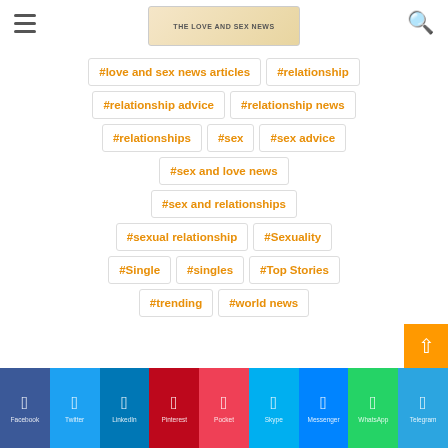THE LOVE AND SEX NEWS
#love and sex news articles
#relationship
#relationship advice
#relationship news
#relationships
#sex
#sex advice
#sex and love news
#sex and relationships
#sexual relationship
#Sexuality
#Single
#singles
#Top Stories
#trending
#world news